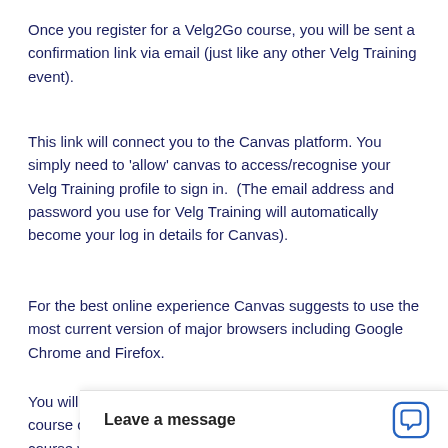Once you register for a Velg2Go course, you will be sent a confirmation link via email (just like any other Velg Training event).
This link will connect you to the Canvas platform. You simply need to 'allow' canvas to access/recognise your Velg Training profile to sign in.  (The email address and password you use for Velg Training will automatically become your log in details for Canvas).
For the best online experience Canvas suggests to use the most current version of major browsers including Google Chrome and Firefox.
You will also be sent a reminder email prior  your Velg2Go course opening. On the c course will be visible in C